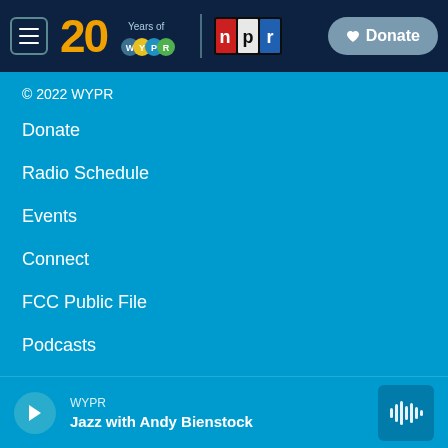[Figure (logo): WYPR 20 Years logo with NPR logo and Donate button in dark navy navigation bar]
© 2022 WYPR
Donate
Radio Schedule
Events
Connect
FCC Public File
Podcasts
Newsletters & Emails
WYPR — Jazz with Andy Bienstock